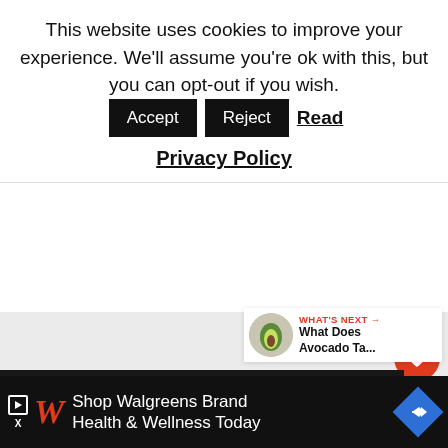This website uses cookies to improve your experience. We'll assume you're ok with this, but you can opt-out if you wish. Accept  Reject  Read Privacy Policy
[Figure (screenshot): Gray main content area with floating heart button (red, showing count 2), share button (white circle), and What's Next card showing avocado image with text 'What Does Avocado Ta...']
Y... g. T... nly 1-2
[Figure (infographic): Advertisement banner: Shop Walgreens Brand Health & Wellness Today with Walgreens logo and navigation arrow icon]